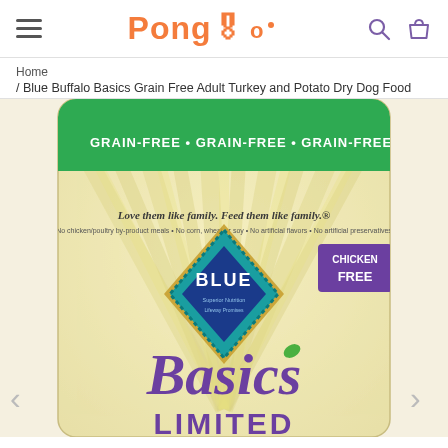Pongo
Home / Blue Buffalo Basics Grain Free Adult Turkey and Potato Dry Dog Food
[Figure (photo): Blue Buffalo Basics Grain Free dog food bag. The bag has a green band at the top reading GRAIN-FREE repeated four times. The main bag is cream/beige with sunburst rays. A teal and blue diamond-shaped logo displays the BLUE brand name. A purple badge in the upper right reads CHICKEN FREE. In italic purple script the word Basics appears in the center, and UNLIMITED appears at the bottom. The bag also reads: Love them like family. Feed them like family. No chicken/poultry by-product meals. No corn, wheat or soy. No artificial flavors. No artificial preservatives.]